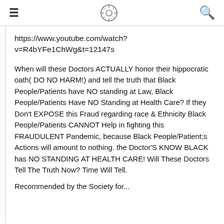≡ [logo] Q
https://www.youtube.com/watch?v=R4bYFe1ChWg&t=12147s
When will these Doctors ACTUALLY honor their hippocratic oath( DO NO HARM!) and tell the truth that Black People/Patients have NO standing at Law, Black People/Patients Have NO Standing at Health Care? If they Don't EXPOSE this Fraud regarding race & Ethnicity Black People/Patients CANNOT Help in fighting this FRAUDULENT Pandemic, because Black People/Patient;s Actions will amount to nothing. the Doctor'S KNOW BLACK has NO STANDING AT HEALTH CARE! Will These Doctors Tell The Truth Now? Time Will Tell.
Recommended by the Society for...